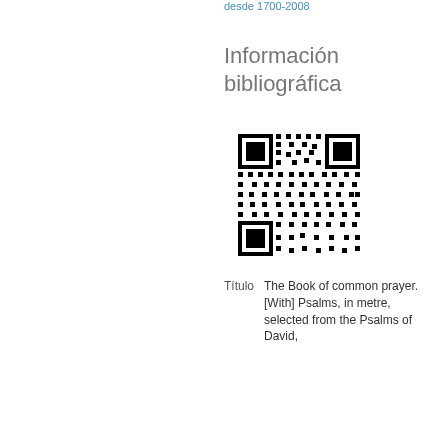desde 1700-2008
Información bibliográfica
[Figure (other): QR code linking to bibliographic information]
| Título | The Book of common prayer. [With] Psalms, in metre, selected from the Psalms of David, |